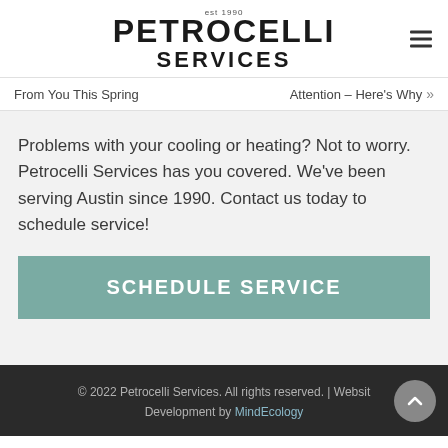[Figure (logo): Petrocelli Services logo with 'est 1990' text above, bold block letters PETROCELLI on top line and SERVICES below]
From You This Spring
Attention – Here's Why »
Problems with your cooling or heating? Not to worry. Petrocelli Services has you covered. We've been serving Austin since 1990. Contact us today to schedule service!
SCHEDULE SERVICE
© 2022 Petrocelli Services. All rights reserved. | Website Development by MindEcology